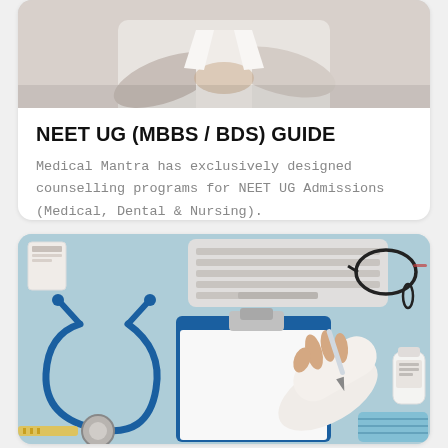[Figure (photo): Top portion of a person in a white coat/shirt, arms crossed, medical professional photo cropped at torso level]
NEET UG (MBBS / BDS) GUIDE
Medical Mantra has exclusively designed counselling programs for NEET UG Admissions (Medical, Dental & Nursing).
[Figure (photo): Top-down flat lay photo of a medical desk scene: blue stethoscope, white keyboard, clipboard with blank paper, hand holding pen, glasses, medicine bottle, blue surgical mask, on a light blue surface]